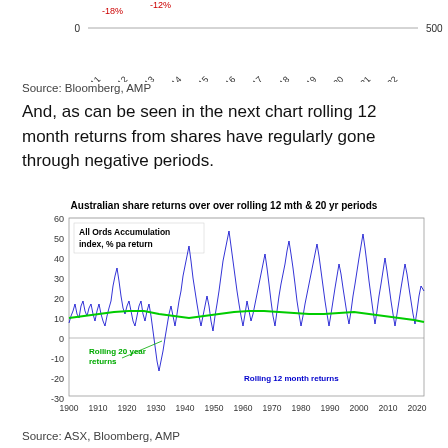[Figure (continuous-plot): Top portion of a chart showing year axis labels from 2011 to 2022 with some negative return labels (-18%, -12%) visible at the top, cut off from above]
Source: Bloomberg, AMP
And, as can be seen in the next chart rolling 12 month returns from shares have regularly gone through negative periods.
[Figure (continuous-plot): Line chart showing All Ords Accumulation index % pa return from 1900 to 2020. Blue spiky line shows rolling 12 month returns ranging from about -30 to 60. Green smoother line shows rolling 20 year returns staying mostly between 5 and 20.]
Source: ASX, Bloomberg, AMP
But while the falls can be painful, they are healthy as they help limit excessive risk-taking. Related to